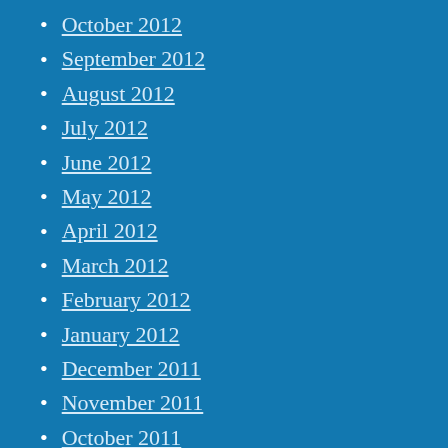October 2012
September 2012
August 2012
July 2012
June 2012
May 2012
April 2012
March 2012
February 2012
January 2012
December 2011
November 2011
October 2011
September 2011
August 2011
July 2011